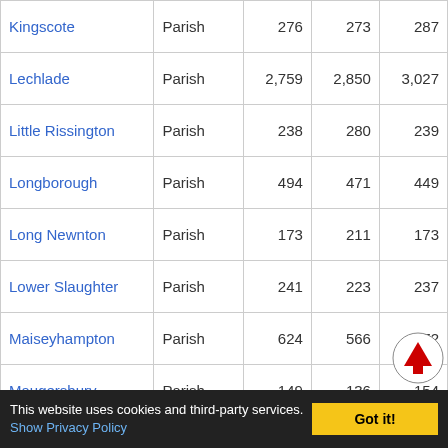|  |  |  |  |  |
| --- | --- | --- | --- | --- |
| Kingscote | Parish | 276 | 273 | 287 |
| Lechlade | Parish | 2,759 | 2,850 | 3,027 |
| Little Rissington | Parish | 238 | 280 | 239 |
| Longborough | Parish | 494 | 471 | 449 |
| Long Newnton | Parish | 173 | 211 | 173 |
| Lower Slaughter | Parish | 241 | 223 | 237 |
| Maiseyhampton | Parish | 624 | 566 | 572 |
| Maugersbury | Parish | 149 | 136 | 154 |
| Mickleton | Parish | 1,520 | 1,676 | 2,197 |
| Moreton-in-Marsh | Parish | 3,199 | 3,493 | 4,739 |
| Naunton | Parish | 340 | 352 | 329 |
| North Cerney | Parish | 558 | 582 | 544 |
This website uses cookies and third-party services. Show Privacy Policy   Got it!